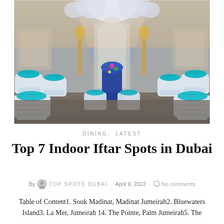[Figure (photo): Elegant indoor Iftar dining setup with crystal chandeliers, white chairs with teal/turquoise cushions, a blue floral centerpiece runner, and a grand arched tent-like ceiling. Luxurious restaurant venue in Dubai.]
DINING,  LATEST
Top 7 Indoor Iftar Spots in Dubai
By TOP SPOTS DUBAI · April 9, 2022 · No comments
Table of Content1. Souk Madinat, Madinat Jumeirah2. Bluewaters Island3. La Mer, Jumeirah 14. The Pointe, Palm Jumeirah5. The